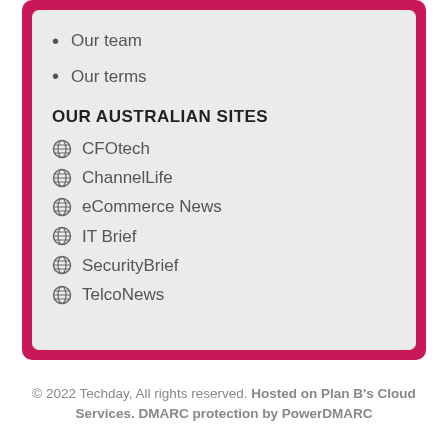Our team
Our terms
OUR AUSTRALIAN SITES
CFOtech
ChannelLife
eCommerce News
IT Brief
SecurityBrief
TelcoNews
© 2022 Techday, All rights reserved. Hosted on Plan B's Cloud Services. DMARC protection by PowerDMARC